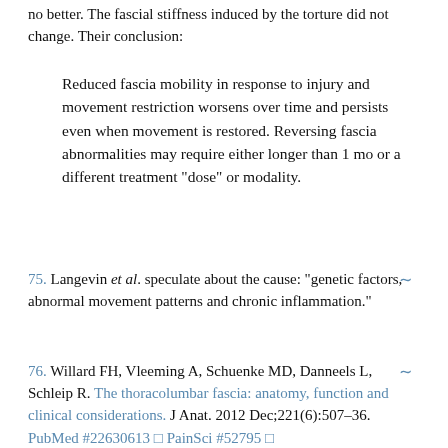no better. The fascial stiffness induced by the torture did not change. Their conclusion:
Reduced fascia mobility in response to injury and movement restriction worsens over time and persists even when movement is restored. Reversing fascia abnormalities may require either longer than 1 mo or a different treatment "dose" or modality.
75. Langevin et al. speculate about the cause: “genetic factors, abnormal movement patterns and chronic inflammation.”
76. Willard FH, Vleeming A, Schuenke MD, Danneels L, Schleip R. The thoracolumbar fascia: anatomy, function and clinical considerations. J Anat. 2012 Dec;221(6):507–36. PubMed #22630613 □ PainSci #52795 □
The reduction in shear-strain could be due to tissue adhesions induced by previous injury or inflammation, and could then be consistent with the